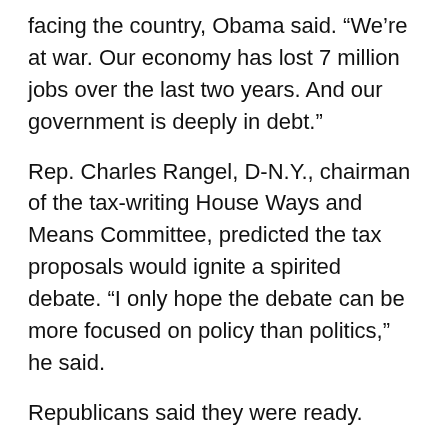facing the country, Obama said. “We’re at war. Our economy has lost 7 million jobs over the last two years. And our government is deeply in debt.”
Rep. Charles Rangel, D-N.Y., chairman of the tax-writing House Ways and Means Committee, predicted the tax proposals would ignite a spirited debate. “I only hope the debate can be more focused on policy than politics,” he said.
Republicans said they were ready.
“As if record deficits weren’t enough, President Obama’s budget still includes major tax increases that will hit our fragile economy like a brick wall,” said Rep. Tom Price of Georgia.